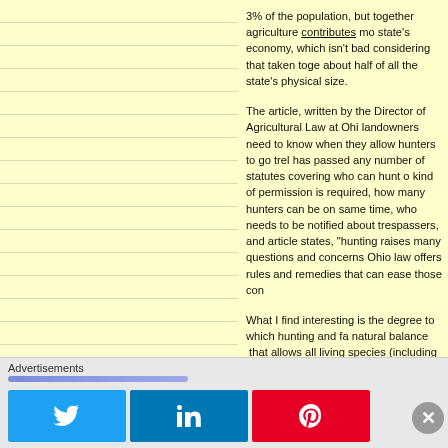3% of the population, but together agriculture contributes more to the state's economy, which isn't bad considering that taken together they use about half of all the state's physical size.
The article, written by the Director of Agricultural Law at Ohio State, covers what landowners need to know when they allow hunters to go trekking. Ohio has passed any number of statutes covering who can hunt on your property, what kind of permission is required, how many hunters can be on the property at the same time, who needs to be notified about trespassers, and more. As the article states, "hunting raises many questions and concerns for landowners" but Ohio law offers rules and remedies that can ease those concerns.
What I find interesting is the degree to which hunting and farming maintain a natural balance that allows all living species (including humans) to thrive. A farmer plants a crop which both draws and restores natural ingredients to the soil. After harvest (which produces sustenance for animals and man) the leftover stalks provide nourishment for all kinds of living things. Then the hunters come in to trim the herds attracted to the open, farmed space and the whole cycle...
The importance of this process and the role played by h...
Advertisements